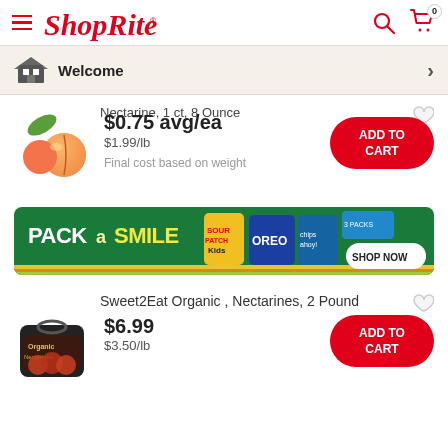ShopRite
Welcome
Nectarine, 1 ct, 8 Ounce
$0.75 avg/ea
$1.99/lb
Final cost based on weight
[Figure (infographic): PACK a SMILE promotional banner featuring Sour Patch Kids, Oreo, and Chips Ahoy snacks with SHOP NOW button]
Sweet2Eat Organic , Nectarines, 2 Pound
$6.99
$3.50/lb